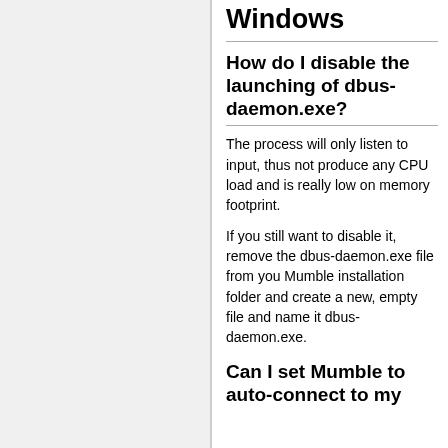Windows
How do I disable the launching of dbus-daemon.exe?
The process will only listen to input, thus not produce any CPU load and is really low on memory footprint.
If you still want to disable it, remove the dbus-daemon.exe file from you Mumble installation folder and create a new, empty file and name it dbus-daemon.exe.
Can I set Mumble to auto-connect to my